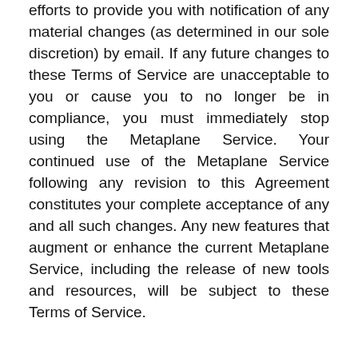efforts to provide you with notification of any material changes (as determined in our sole discretion) by email. If any future changes to these Terms of Service are unacceptable to you or cause you to no longer be in compliance, you must immediately stop using the Metaplane Service. Your continued use of the Metaplane Service following any revision to this Agreement constitutes your complete acceptance of any and all such changes. Any new features that augment or enhance the current Metaplane Service, including the release of new tools and resources, will be subject to these Terms of Service.
Copyright and Content Ownership
We claim no intellectual property rights over the content submitted or created exclusively in your Metaplane account. Any content that is yours remains yours. These Terms do not grant us any licenses or rights to your content except for the limited rights needed for us